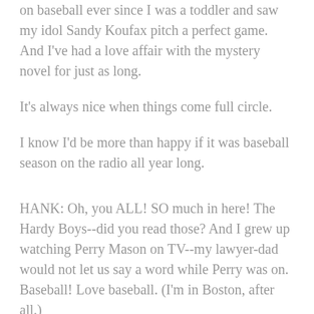on baseball ever since I was a toddler and saw my idol Sandy Koufax pitch a perfect game. And I've had a love affair with the mystery novel for just as long.
It's always nice when things come full circle.
I know I'd be more than happy if it was baseball season on the radio all year long.
HANK: Oh, you ALL! SO much in here! The Hardy Boys--did you read those? And I grew up watching Perry Mason on TV--my lawyer-dad would not let us say a word while Perry was on. Baseball! Love baseball. (I'm in Boston, after all.)